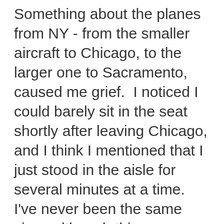Something about the planes from NY - from the smaller aircraft to Chicago, to the larger one to Sacramento, caused me grief.  I noticed I could barely sit in the seat shortly after leaving Chicago, and I think I mentioned that I just stood in the aisle for several minutes at a time.  I've never been the same since although things are looking up now.
It is a beautiful sunny day at 63 degrees - no doubt, much warmer than my house.